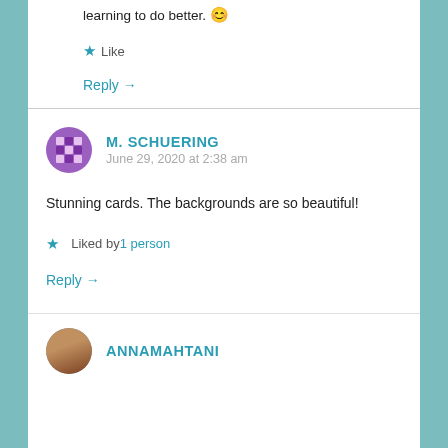learning to do better. 😊
★ Like
Reply →
M. SCHUERING
June 29, 2020 at 2:38 am
Stunning cards. The backgrounds are so beautiful!
★ Liked by 1person
Reply →
ANNAMAHTANI